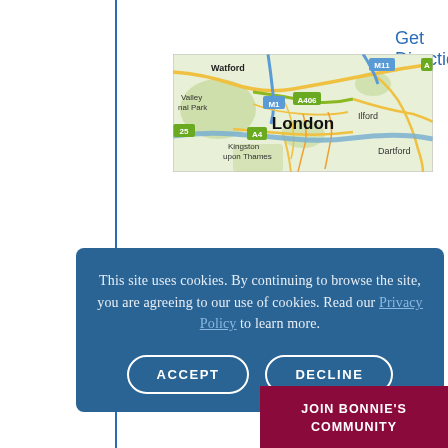Get Directions
[Figure (map): Google Maps screenshot showing Greater London area including Watford, Ilford, Dartford, Kingston upon Thames, Valley Park, with motorway labels M1, M11, A406, A4, A25]
This site uses cookies. By continuing to browse the site, you are agreeing to our use of cookies. Read our Privacy Policy to learn more.
ACCEPT
DECLINE
JOIN BONNIE'S COMMUNITY